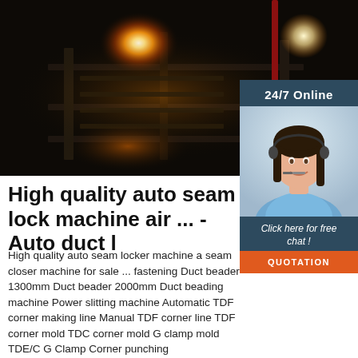[Figure (photo): Industrial machine with bright orange/yellow flames or glowing light visible inside darkened mechanical equipment with metal frames and rollers]
[Figure (photo): Customer service sidebar: '24/7 Online' header in dark blue, woman with headset smiling, 'Click here for free chat!' text, orange QUOTATION button]
High quality auto seam lock machine air ... - Auto duct l
High quality auto seam locker machine a seam closer machine for sale ... fastening Duct beader 1300mm Duct beader 2000mm Duct beading machine Power slitting machine Automatic TDF corner making line Manual TDF corner line TDF corner mold TDC corner mold G clamp mold TDE/C G Clamp Corner punching